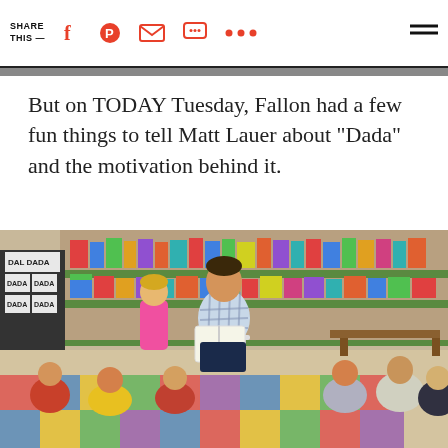SHARE THIS —
But on TODAY Tuesday, Fallon had a few fun things to tell Matt Lauer about "Dada" and the motivation behind it.
[Figure (photo): A man in a plaid shirt sits on a stool reading a book to a group of young children seated on a colorful carpet in a bookstore/library setting. A small girl in a pink dress stands next to him. Bookshelves with colorful books line the wall behind them. Signs reading 'DADA' are visible on a book display rack to the left.]